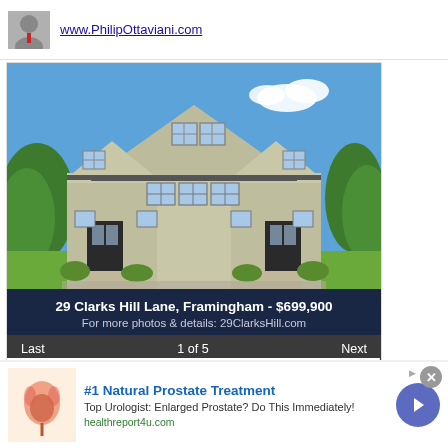www.PhilipOttaviani.com
[Figure (photo): Exterior photo of a large two-story colonial-style house with gray siding, black metal roof, multiple dormer windows, and green trees surrounding it.]
29 Clarks Hill Lane, Framingham - $699,900
For more photos & details: 29ClarksHill.com
Last   1 of 5   Next
"Making Deals Happen & Getting Things Done!"
PhilipOttaviani.com
#1 Natural Prostate Treatment
Top Urologist: Enlarged Prostate? Do This Immediately!
healthreport4u.com